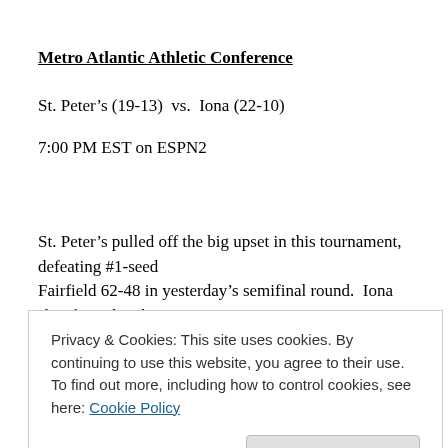Metro Atlantic Athletic Conference
St. Peter’s (19-13)  vs.  Iona (22-10)
7:00 PM EST on ESPN2
St. Peter’s pulled off the big upset in this tournament, defeating #1-seed Fairfield 62-48 in yesterday’s semifinal round.  Iona slaughtered Rider 83-59 to
Privacy & Cookies: This site uses cookies. By continuing to use this website, you agree to their use.
To find out more, including how to control cookies, see here: Cookie Policy
an even as an experienced team. The national top four players are similar